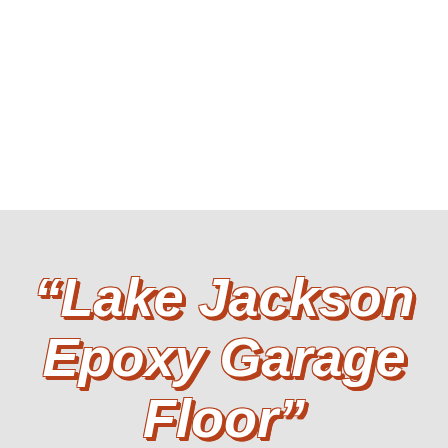[Figure (photo): White upper half of page, likely an image area above the title text]
“Lake Jackson Epoxy Garage Floor”